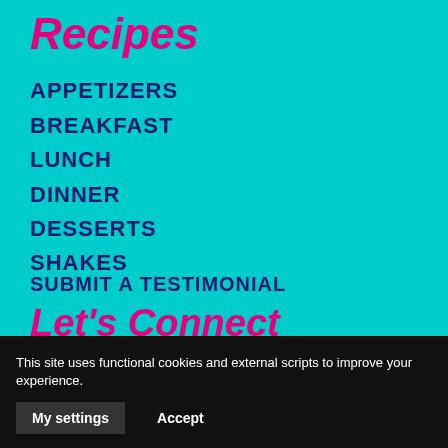Recipes
APPETIZERS
BREAKFAST
LUNCH
DINNER
DESSERTS
SHAKES
Let's Connect
CONTACT US
SUBMIT A TESTIMONIAL
This site uses functional cookies and external scripts to improve your experience.
My settings
Accept